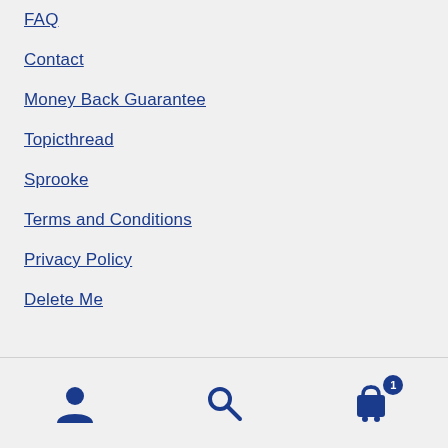FAQ
Contact
Money Back Guarantee
Topicthread
Sprooke
Terms and Conditions
Privacy Policy
Delete Me
[Figure (infographic): Bottom navigation bar with three icons: user/account icon on the left, search magnifying glass icon in the center, and shopping cart icon with badge showing '1' on the right]